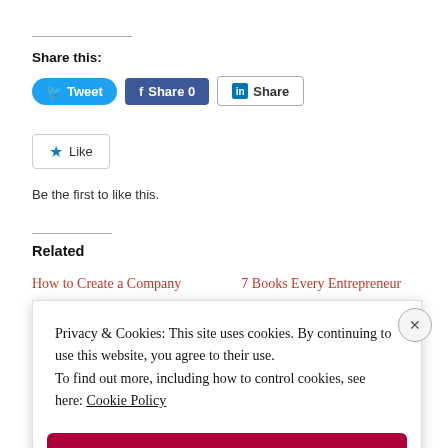Share this:
[Figure (infographic): Social share buttons: Tweet (Twitter, blue rounded), Share 0 (Facebook, dark blue), Share (LinkedIn, outlined)]
[Figure (infographic): Like button with star icon. Text below: Be the first to like this.]
Be the first to like this.
Related
How to Create a Company      7 Books Every Entrepreneur
Privacy & Cookies: This site uses cookies. By continuing to use this website, you agree to their use.
To find out more, including how to control cookies, see here: Cookie Policy
Close and accept